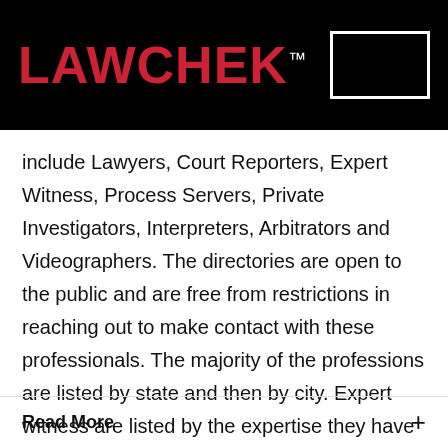LAWCHEK™
include Lawyers, Court Reporters, Expert Witness, Process Servers, Private Investigators, Interpreters, Arbitrators and Videographers. The directories are open to the public and are free from restrictions in reaching out to make contact with these professionals. The majority of the professions are listed by state and then by city. Expert witness are listed by the expertise they have acquired there predominant skill set in. Attorneys are rated.   Find A Legal Professional
Read More